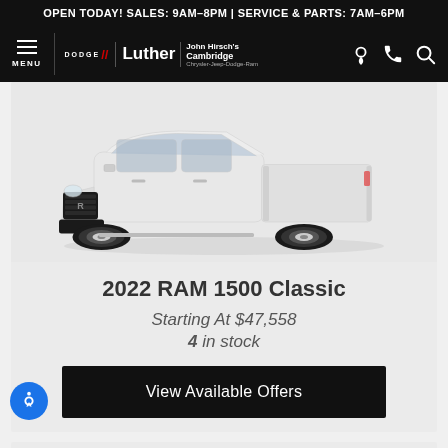OPEN TODAY! SALES: 9AM-8PM | SERVICE & PARTS: 7AM-6PM
[Figure (screenshot): Navigation bar with hamburger menu, Dodge Luther John Hirsch's Cambridge Chrysler-Jeep-Dodge-Ram logo, and icons for location, phone, and search on black background]
[Figure (photo): 2022 RAM 1500 Classic white pickup truck, front three-quarter view on light gray background]
2022 RAM 1500 Classic
Starting At $47,558
4 in stock
View Available Offers